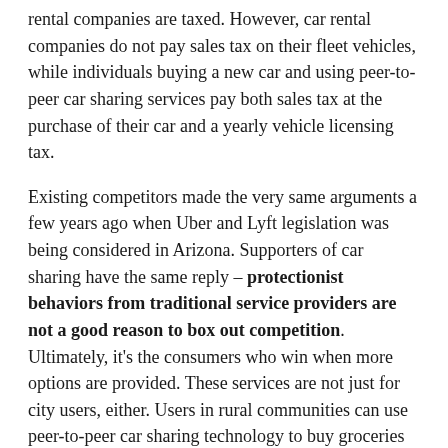rental companies are taxed. However, car rental companies do not pay sales tax on their fleet vehicles, while individuals buying a new car and using peer-to-peer car sharing services pay both sales tax at the purchase of their car and a yearly vehicle licensing tax.
Existing competitors made the very same arguments a few years ago when Uber and Lyft legislation was being considered in Arizona. Supporters of car sharing have the same reply – protectionist behaviors from traditional service providers are not a good reason to box out competition. Ultimately, it's the consumers who win when more options are provided. These services are not just for city users, either. Users in rural communities can use peer-to-peer car sharing technology to buy groceries or go to doctor's appointments. This is especially useful for people who cannot afford a car of their own.